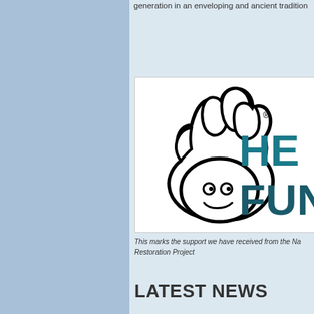generation in an enveloping and ancient tradition
[Figure (logo): National Lottery Heritage Fund logo: crossed fingers hand icon on left, partial text 'HE' and 'FUN' visible on right in teal/dark teal color]
This marks the support we have received from the National Lottery Heritage Fund Restoration Project
LATEST NEWS